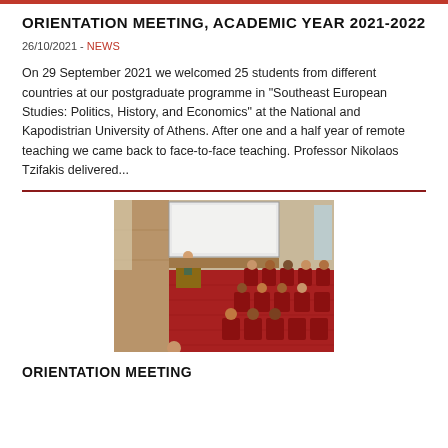ORIENTATION MEETING, ACADEMIC YEAR 2021-2022
26/10/2021 - NEWS
On 29 September 2021 we welcomed 25 students from different countries at our postgraduate programme in "Southeast European Studies: Politics, History, and Economics" at the National and Kapodistrian University of Athens. After one and a half year of remote teaching we came back to face-to-face teaching. Professor Nikolaos Tzifakis delivered...
[Figure (photo): Lecture hall with red seats and carpet; a professor stands at a podium at the front while students are seated in the rows, viewed from above and behind.]
ORIENTATION MEETING